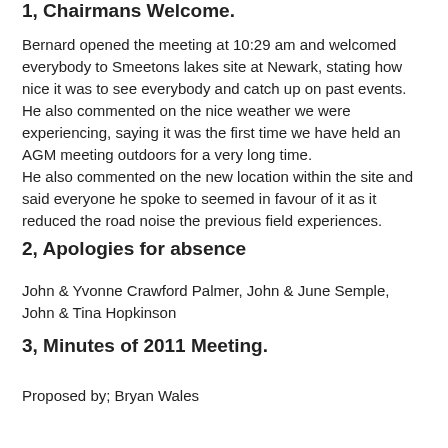1, Chairmans Welcome.
Bernard opened the meeting at 10:29 am and welcomed everybody to Smeetons lakes site at Newark, stating how nice it was to see everybody and catch up on past events.
He also commented on the nice weather we were experiencing, saying it was the first time we have held an AGM meeting outdoors for a very long time.
He also commented on the new location within the site and said everyone he spoke to seemed in favour of it as it reduced the road noise the previous field experiences.
2, Apologies for absence
John & Yvonne Crawford Palmer, John & June Semple, John & Tina Hopkinson
3, Minutes of 2011 Meeting.
Proposed by; Bryan Wales